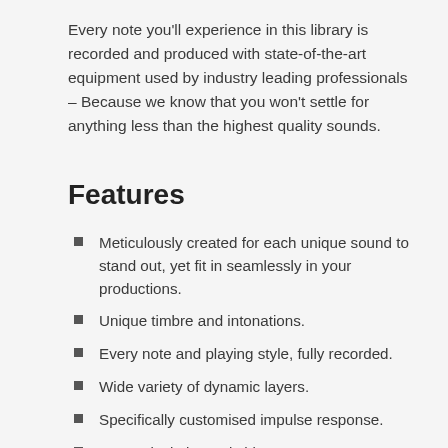Every note you'll experience in this library is recorded and produced with state-of-the-art equipment used by industry leading professionals – Because we know that you won't settle for anything less than the highest quality sounds.
Features
Meticulously created for each unique sound to stand out, yet fit in seamlessly in your productions.
Unique timbre and intonations.
Every note and playing style, fully recorded.
Wide variety of dynamic layers.
Specifically customised impulse response.
Fast articulation switching.
Native Instruments (NKS) ready.
Intuitive, easy to use UI.